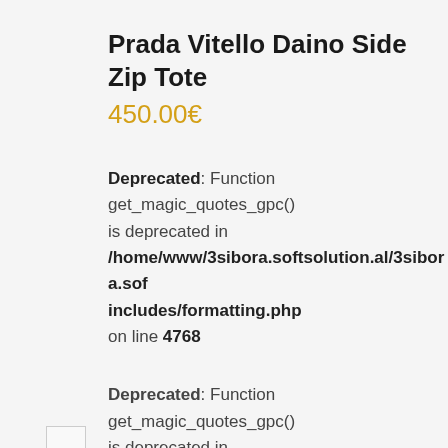Prada Vitello Daino Side Zip Tote
450.00€
Deprecated: Function get_magic_quotes_gpc() is deprecated in /home/www/3sibora.softsolution.al/3sibora.sof includes/formatting.php on line 4768
Deprecated: Function get_magic_quotes_gpc() is deprecated in /home/www/3sibora.softsolution.al/3sibora.sof